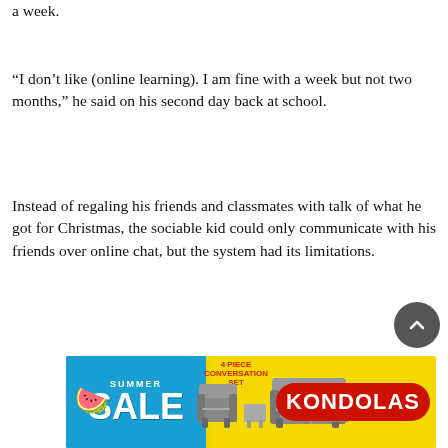a week.
“I don’t like (online learning). I am fine with a week but not two months,” he said on his second day back at school.
Instead of regaling his friends and classmates with talk of what he got for Christmas, the sociable kid could only communicate with his friends over online chat, but the system had its limitations.
[Figure (other): Advertisement banner for Kondolas furniture summer sale showing outdoor furniture set on yellow and blue background]